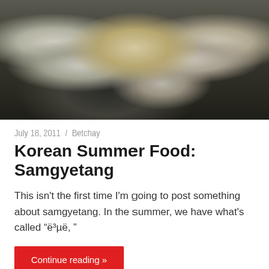[Figure (photo): A dark cooking pot viewed from above containing a whole chicken submerged in broth with various ingredients including ginger, garlic, and other vegetables/herbs.]
July 18, 2011 / Betchay
Korean Summer Food: Samgyetang
This isn't the first time I'm going to post something about samgyetang. In the summer, we have what's called "ë³µë,  "
Continue reading »